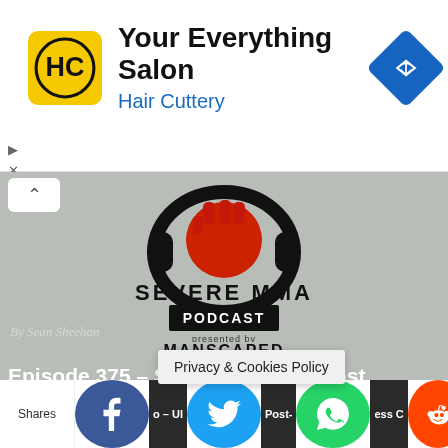[Figure (advertisement): Hair Cuttery ad banner with HC logo, 'Your Everything Salon' headline, 'Hair Cuttery' subtitle, and blue navigation icon]
[Figure (photo): Severe MMA Podcast logo with headphones and raised fist graphic, 'SEVERE MMA PODCAST presented by MANSCAPED' text on grey background]
By Sean Sheehan
Episode 375 – Severe MMA Podcast
The Auld Triangle Episode 14 with Will Fleury
Carl McNally Signs Multi-Fight Contract With KSW
The Severe Spotlight: Alex
Privacy & Cookies Policy
Shares  o – Ul  Post-  ess C  ice